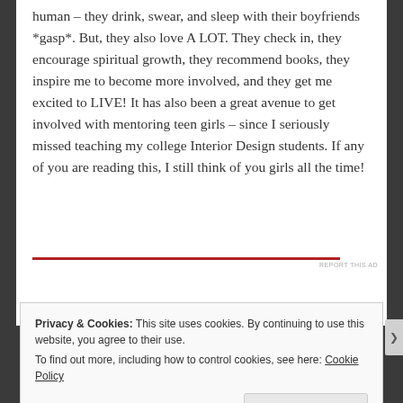human – they drink, swear, and sleep with their boyfriends *gasp*. But, they also love A LOT. They check in, they encourage spiritual growth, they recommend books, they inspire me to become more involved, and they get me excited to LIVE! It has also been a great avenue to get involved with mentoring teen girls – since I seriously missed teaching my college Interior Design students. If any of you are reading this, I still think of you girls all the time!
Privacy & Cookies: This site uses cookies. By continuing to use this website, you agree to their use.
To find out more, including how to control cookies, see here: Cookie Policy
Close and accept